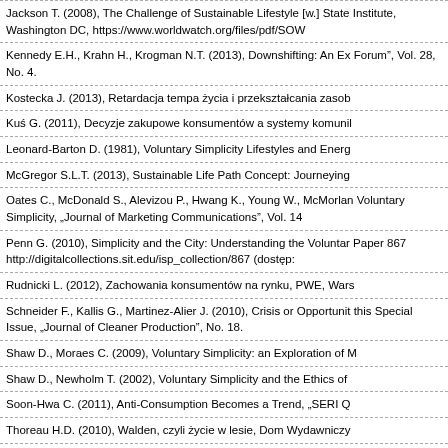Jackson T. (2008), The Challenge of Sustainable Lifestyle [w.] State Institute, Washington DC, https://www.worldwatch.org/files/pdf/SOW
Kennedy E.H., Krahn H., Krogman N.T. (2013), Downshifting: An Ex Forum", Vol. 28, No. 4.
Kostecka J. (2013), Retardacja tempa życia i przekształcania zasob
Kuś G. (2011), Decyzje zakupowe konsumentów a systemy komunil
Leonard-Barton D. (1981), Voluntary Simplicity Lifestyles and Energ
McGregor S.L.T. (2013), Sustainable Life Path Concept: Journeying
Oates C., McDonald S., Alevizou P., Hwang K., Young W., McMorlan Voluntary Simplicity, „Journal of Marketing Communications", Vol. 14
Penn G. (2010), Simplicity and the City: Understanding the Voluntar Paper 867 http://digitalcollections.sit.edu/isp_collection/867 (dostęp:
Rudnicki L. (2012), Zachowania konsumentów na rynku, PWE, Wars
Schneider F., Kallis G., Martinez-Alier J. (2010), Crisis or Opportunit this Special Issue, „Journal of Cleaner Production", No. 18.
Shaw D., Moraes C. (2009), Voluntary Simplicity: an Exploration of M
Shaw D., Newholm T. (2002), Voluntary Simplicity and the Ethics of
Soon-Hwa C. (2011), Anti-Consumption Becomes a Trend, „SERI Q
Thoreau H.D. (2010), Walden, czyli życie w lesie, Dom Wydawniczy
Woś J., Rachocka J., Kasperek-Hoppe M. (2011), Zachowania kons Poznań.
Wu D.E., Boyd Thomas J., Moore M., Carroll K. (2013), Voluntary Si